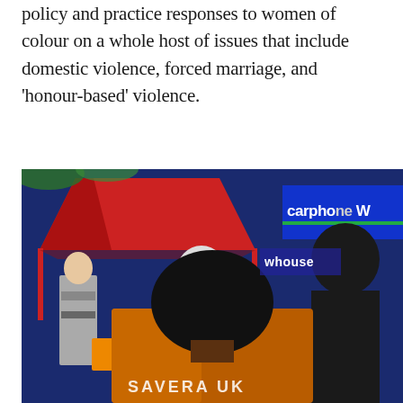policy and practice responses to women of colour on a whole host of issues that include domestic violence, forced marriage, and 'honour-based' violence.
[Figure (photo): Outdoor event or rally scene photographed from behind a person wearing an orange 'SAVERA UK' t-shirt. In the background are a red gazebo/tent, a blue banner partially showing 'carphone W', a woman in a white hijab holding flowers, another woman in grey, and orange signs. The setting appears to be a public awareness event.]